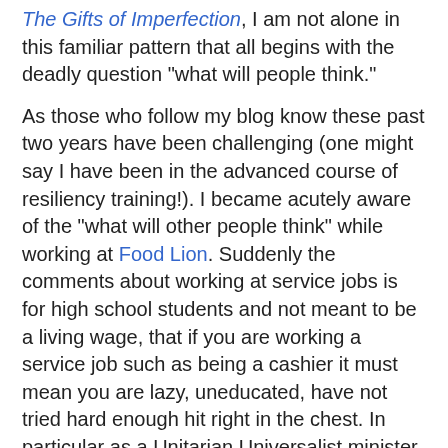The Gifts of Imperfection, I am not alone in this familiar pattern that all begins with the deadly question "what will people think."
As those who follow my blog know these past two years have been challenging (one might say I have been in the advanced course of resiliency training!).  I became acutely aware of the "what will other people think" while working at Food Lion.  Suddenly the comments about working at service jobs is for high school students and not meant to be a living wage, that if you are working a service job such as being a cashier it must mean you are lazy, uneducated, have not tried hard enough hit right in the chest.  In particular as a Unitarian Universalist minister I felt the "OMG what will the members of my congregation think - I saw them often as they frequently came through my line at the Food Lion" to "what will my colleagues think" and I could feel the I am so sorry you have to do this from my family and some others.  Unitarian Universalist ministers are not supposed to be working as cashiers at grocery stores or Walmart - maybe a book store but really we are supposed to be living the middle to upper middle class lifestyle and that does not include